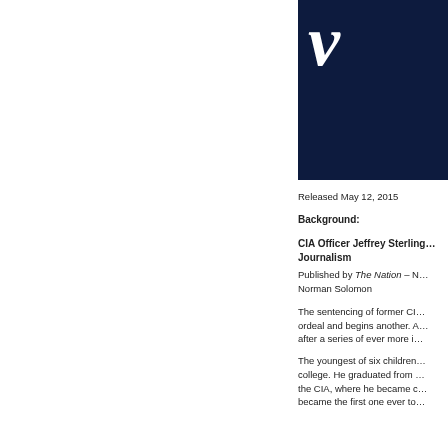[Figure (photo): Dark navy blue book cover with white italic letter 'V' visible in top portion]
Released May 12, 2015
Background:
CIA Officer Jeffrey Sterling… Journalism
Published by The Nation – Norman Solomon
The sentencing of former CI… ordeal and begins another. A… after a series of ever more i…
The youngest of six children… college. He graduated from… the CIA, where he became c… became the first one ever to…